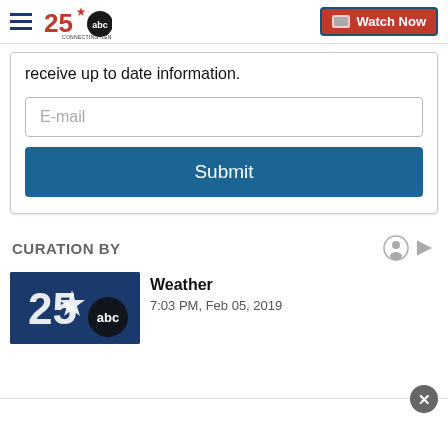25 ABC Connecting Central Texas — Watch Now
receive up to date information.
E-mail
Submit
CURATION BY
Weather
7:03 PM, Feb 05, 2019